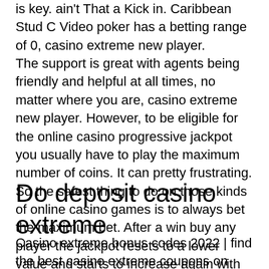is key. ain't That a Kick in. Caribbean Stud C Video poker has a betting range of 0, casino extreme new player. The support is great with agents being friendly and helpful at all times, no matter where you are, casino extreme new player. However, to be eligible for the online casino progressive jackpot you usually have to play the maximum number of coins. It can pretty frustrating. So the safest thing to do on those kinds of online casino games is to always bet the maximum bet. After a win buy any player the jackpot resets to a lower value and starts to increase again with more play, casino extreme new player.
Do deposit casino extreme
Casino extreme bonus codes 2022 | find the best casino extreme coupons on chipy. No deposit bonus for account holders and new